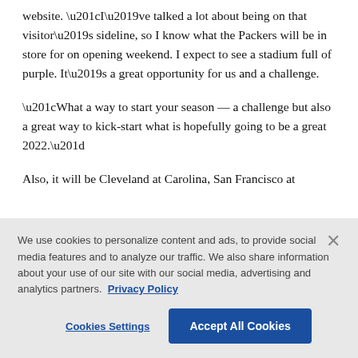website. “I’ve talked a lot about being on that visitor’s sideline, so I know what the Packers will be in store for on opening weekend. I expect to see a stadium full of purple. It’s a great opportunity for us and a challenge.
“What a way to start your season — a challenge but also a great way to kick-start what is hopefully going to be a great 2022.”
Also, it will be Cleveland at Carolina, San Francisco at
We use cookies to personalize content and ads, to provide social media features and to analyze our traffic. We also share information about your use of our site with our social media, advertising and analytics partners. Privacy Policy
Cookies Settings   Accept All Cookies